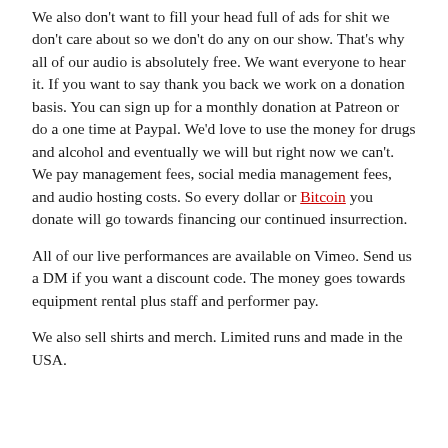We also don't want to fill your head full of ads for shit we don't care about so we don't do any on our show. That's why all of our audio is absolutely free. We want everyone to hear it. If you want to say thank you back we work on a donation basis. You can sign up for a monthly donation at Patreon or do a one time at Paypal. We'd love to use the money for drugs and alcohol and eventually we will but right now we can't. We pay management fees, social media management fees, and audio hosting costs. So every dollar or Bitcoin you donate will go towards financing our continued insurrection.
All of our live performances are available on Vimeo. Send us a DM if you want a discount code. The money goes towards equipment rental plus staff and performer pay.
We also sell shirts and merch. Limited runs and made in the USA.